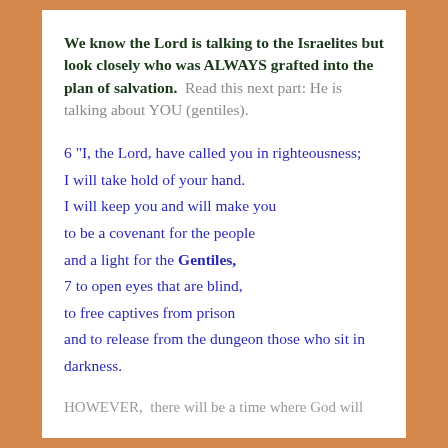We know the Lord is talking to the Israelites but look closely who was ALWAYS grafted into the plan of salvation.  Read this next part: He is talking about YOU (gentiles).
6 "I, the Lord, have called you in righteousness; I will take hold of your hand. I will keep you and will make you to be a covenant for the people and a light for the Gentiles, 7 to open eyes that are blind, to free captives from prison and to release from the dungeon those who sit in darkness.
HOWEVER,  there will be a time where God will